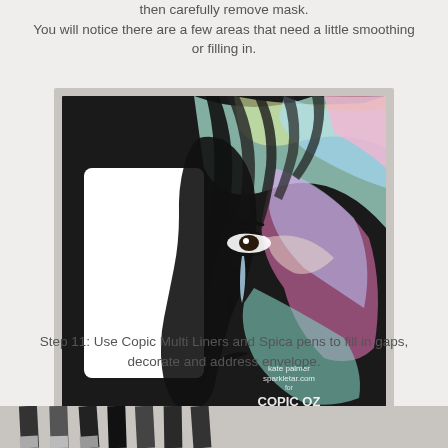then carefully remove mask. You will notice there are a few areas that need a little smoothing or filling in.
[Figure (photo): A mixed-media artwork showing a stylized face with rainbow watercolor hair on black background. A white rectangular masked area is visible on the left. Watermark reads: kate palmer sparkletar.com for COPIC OZ]
Step 11:  Use Copic Multi Liners and Spica pens to fill in gaps, decorate and address envelope.
[Figure (photo): Partial view of art supplies/pens at bottom of page, partially cropped]